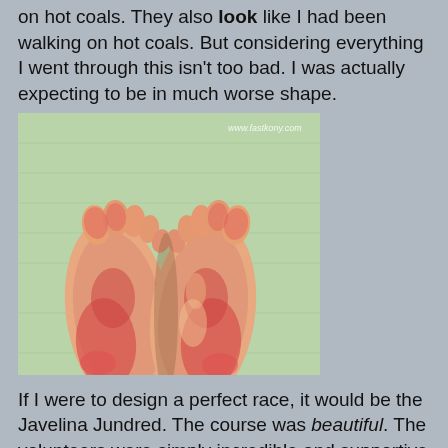on hot coals. They also look like I had been walking on hot coals. But considering everything I went through this isn't too bad. I was actually expecting to be in much worse shape.
[Figure (photo): Photo of two feet with red, blistered soles raised up showing the bottoms, with a watermark reading www.fastkony.com in the top right corner. The background is green fabric.]
If I were to design a perfect race, it would be the Javelina Jundred. The course was beautiful. The volunteers were simply incredible and supportive and encouraging. The organization was flawless. I can't think of one thing I would change. The finisher rate for this race is only 49%. I was so thankful to be counted among the finishers.
Completing a 100 mile race truly was a profound